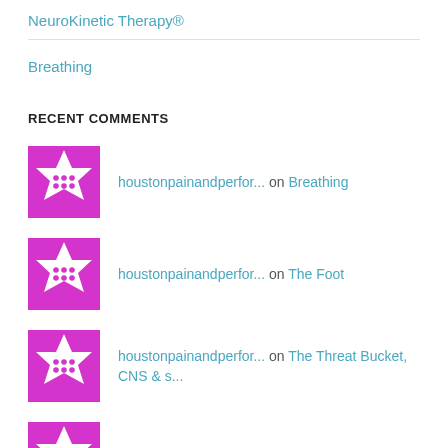NeuroKinetic Therapy®
Breathing
RECENT COMMENTS
houstonpainandperfor... on Breathing
houstonpainandperfor... on The Foot
houstonpainandperfor... on The Threat Bucket, CNS & s...
houstonpainandperfor... on Breathing